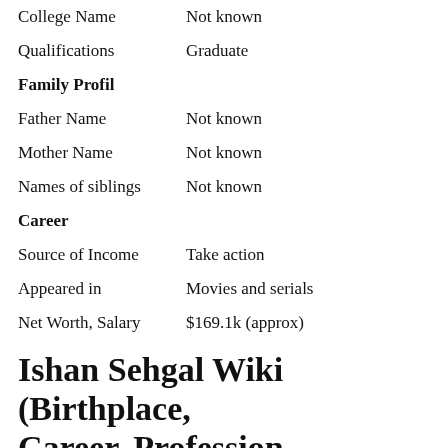College Name	Not known
Qualifications	Graduate
Family Profil
Father Name	Not known
Mother Name	Not known
Names of siblings	Not known
Career
Source of Income	Take action
Appeared in	Movies and serials
Net Worth, Salary	$169.1k (approx)
Ishan Sehgal Wiki (Birthplace, Career, Profession